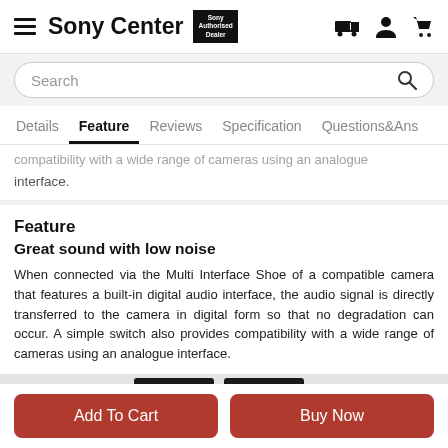Sony Center — Sony Authorised Dealer
Search
Details  Feature  Reviews  Specification  Questions&Ans
compatibility with a wide range of cameras using an analogue interface.
Feature
Great sound with low noise
When connected via the Multi Interface Shoe of a compatible camera that features a built-in digital audio interface, the audio signal is directly transferred to the camera in digital form so that no degradation can occur. A simple switch also provides compatibility with a wide range of cameras using an analogue interface.
[Figure (photo): Black camera accessory (microphone/shoe mount) photographed close-up on grey background]
Add To Cart
Buy Now